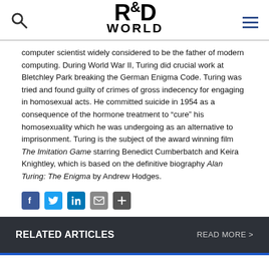R&D WORLD
computer scientist widely considered to be the father of modern computing. During World War II, Turing did crucial work at Bletchley Park breaking the German Enigma Code. Turing was tried and found guilty of crimes of gross indecency for engaging in homosexual acts. He committed suicide in 1954 as a consequence of the hormone treatment to “cure” his homosexuality which he was undergoing as an alternative to imprisonment. Turing is the subject of the award winning film The Imitation Game starring Benedict Cumberbatch and Keira Knightley, which is based on the definitive biography Alan Turing: The Enigma by Andrew Hodges.
[Figure (other): Social sharing icons: Facebook, Twitter, LinkedIn, Email, Share]
RELATED ARTICLES    READ MORE >